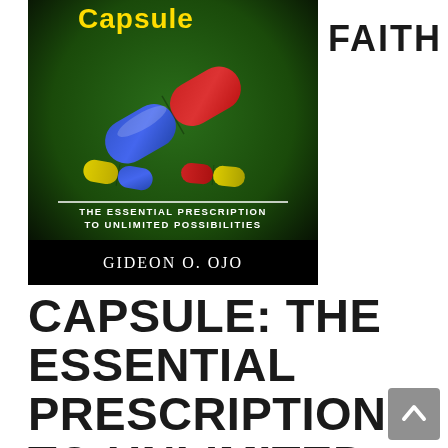[Figure (illustration): Book cover of 'Faith Capsule: The Essential Prescription to Unlimited Possibilities' by Gideon O. Ojo. Dark green background with colorful capsules (red/blue, yellow/blue, red/yellow). Title text in yellow and white. Author name in white serif font at bottom.]
FAITH
CAPSULE: THE ESSENTIAL PRESCRIPTION TO UNLIMITED POSIBILITIES